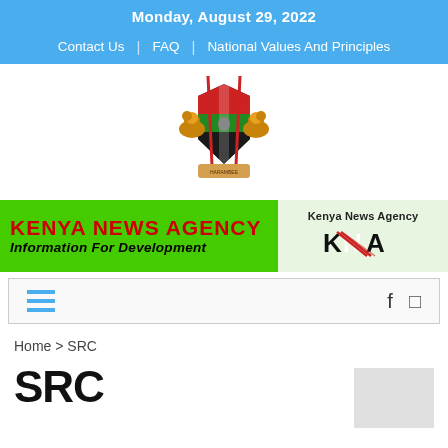Monday, August 29, 2022
Contact Us | FAQ | National Values And Principles
[Figure (logo): Kenya coat of arms emblem with two lions flanking a shield and crossed spears]
[Figure (logo): Kenya News Agency banner: green background with red KENYA NEWS AGENCY text, Information For Development subtitle, and KNA logo on right]
[Figure (infographic): Navigation bar with hamburger menu (blue lines) on left and search/menu icons on right]
Home > SRC
SRC